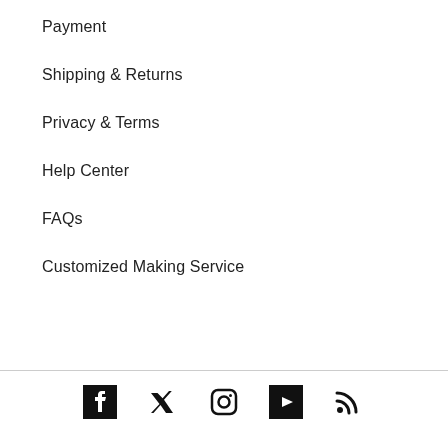Payment
Shipping & Returns
Privacy & Terms
Help Center
FAQs
Customized Making Service
[Figure (infographic): Social media icons row: Facebook, Twitter, Instagram, YouTube, RSS feed]